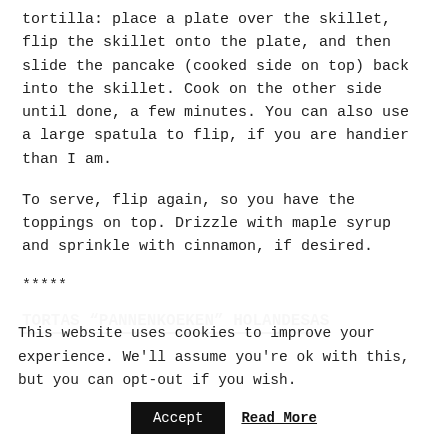tortilla: place a plate over the skillet, flip the skillet onto the plate, and then slide the pancake (cooked side on top) back into the skillet. Cook on the other side until done, a few minutes. You can also use a large spatula to flip, if you are handier than I am.
To serve, flip again, so you have the toppings on top. Drizzle with maple syrup and sprinkle with cinnamon, if desired.
*****
TORTAS “PANNENKOEKEN” HOLANDESAS
This website uses cookies to improve your experience. We'll assume you're ok with this, but you can opt-out if you wish.
Accept   Read More